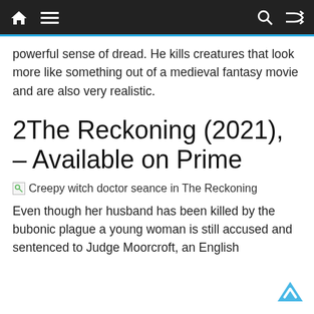Navigation bar with home, menu, search, and shuffle icons
powerful sense of dread. He kills creatures that look more like something out of a medieval fantasy movie and are also very realistic.
2The Reckoning (2021), – Available on Prime
[Figure (illustration): Broken image placeholder with alt text: Creepy witch doctor seance in The Reckoning]
Even though her husband has been killed by the bubonic plague a young woman is still accused and sentenced to Judge Moorcroft, an English